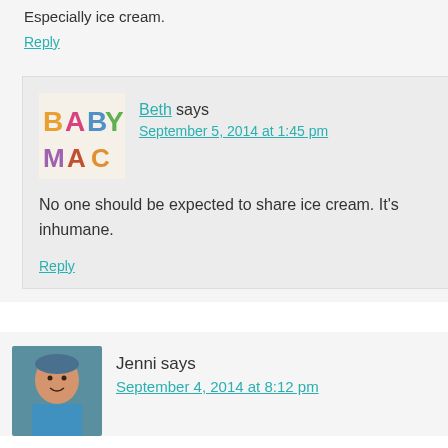Especially ice cream.
Reply
Beth says
September 5, 2014 at 1:45 pm
No one should be expected to share ice cream. It's inhumane.
Reply
Jenni says
September 4, 2014 at 8:12 pm